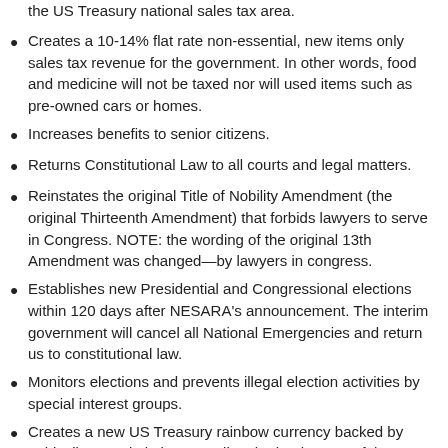the US Treasury national sales tax area.
Creates a 10-14% flat rate non-essential, new items only sales tax revenue for the government. In other words, food and medicine will not be taxed nor will used items such as pre-owned cars or homes.
Increases benefits to senior citizens.
Returns Constitutional Law to all courts and legal matters.
Reinstates the original Title of Nobility Amendment (the original Thirteenth Amendment) that forbids lawyers to serve in Congress. NOTE: the wording of the original 13th Amendment was changed—by lawyers in congress.
Establishes new Presidential and Congressional elections within 120 days after NESARA's announcement. The interim government will cancel all National Emergencies and return us to constitutional law.
Monitors elections and prevents illegal election activities by special interest groups.
Creates a new US Treasury rainbow currency backed by gold, silver, and platinum, ending the bankruptcy of the United States initiated by Franklin Roosevelt in 1933.